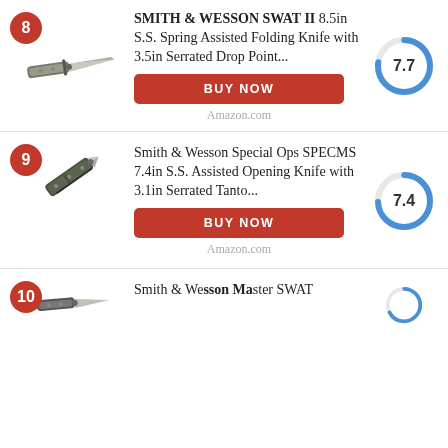8 - SMITH & WESSON SWAT II 8.5in S.S. Spring Assisted Folding Knife with 3.5in Serrated Drop Point... Score: 7.7 - BUY NOW - Amazon.com
9 - Smith & Wesson Special Ops SPECMS 7.4in S.S. Assisted Opening Knife with 3.1in Serrated Tanto... Score: 7.4 - BUY NOW - Amazon.com
10 - Smith & Wesson (partial)